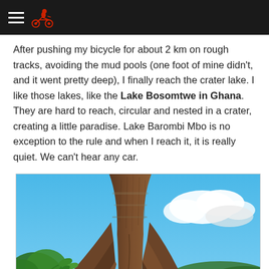[navigation header with hamburger menu and motorcycle icon]
After pushing my bicycle for about 2 km on rough tracks, avoiding the mud pools (one foot of mine didn't, and it went pretty deep), I finally reach the crater lake. I like those lakes, like the Lake Bosomtwe in Ghana. They are hard to reach, circular and nested in a crater, creating a little paradise. Lake Barombi Mbo is no exception to the rule and when I reach it, it is really quiet. We can't hear any car.
[Figure (photo): A large tropical tree with dramatic buttress roots in the foreground, surrounded by lush green jungle vegetation. In the background is a calm blue lake (Lake Barombi Mbo) with forested hills on the far shore under a partly cloudy blue sky.]